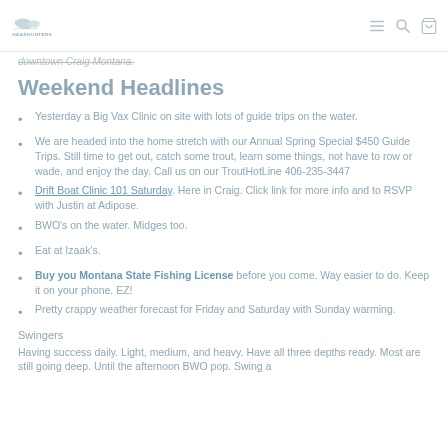Headhunters logo and navigation
downtown Craig Montana.
Weekend Headlines
Yesterday a Big Vax Clinic on site with lots of guide trips on the water.
We are headed into the home stretch with our Annual Spring Special $450 Guide Trips. Still time to get out, catch some trout, learn some things, not have to row or wade, and enjoy the day. Call us on our TroutHotLine 406-235-3447
Drift Boat Clinic 101 Saturday. Here in Craig. Click link for more info and to RSVP with Justin at Adipose.
BWO's on the water. Midges too.
Eat at Izaak's.
Buy you Montana State Fishing License before you come. Way easier to do. Keep it on your phone. EZ!
Pretty crappy weather forecast for Friday and Saturday with Sunday warming.
Swingers
Having success daily. Light, medium, and heavy. Have all three depths ready. Most are still going deep. Until the afternoon BWO pop. Swing a